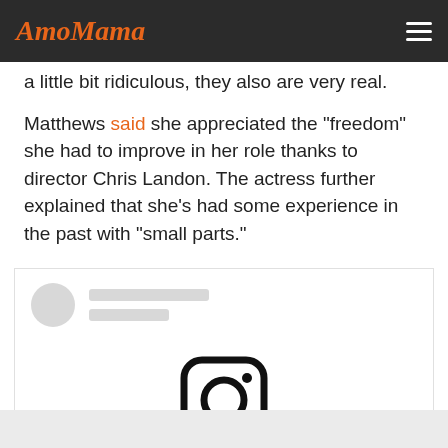AmoMama
a little bit ridiculous, they also are very real.
Matthews said she appreciated the "freedom" she had to improve in her role thanks to director Chris Landon. The actress further explained that she's had some experience in the past with "small parts."
[Figure (screenshot): Instagram embed placeholder showing a blurred/loading social media post with avatar circle, two grey lines, and Instagram camera icon in the center]